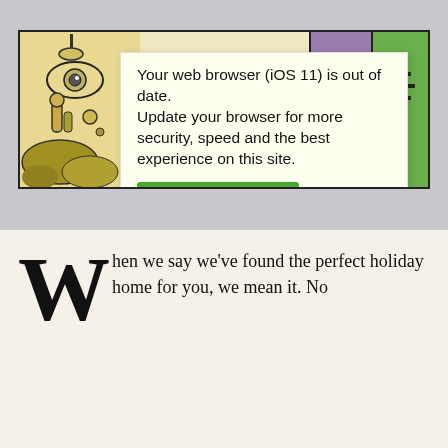[Figure (screenshot): Browser update warning popup overlaying a decorative artwork banner with abstract illustration on left, purple middle section, and green right section. The popup reads: 'Your web browser (iOS 11) is out of date. Update your browser for more security, speed and the best experience on this site.' with a green 'Update browser' button.]
When we say we've found the perfect holiday home for you, we mean it. No accommodation that that's where Plum Guide comes in. We've done the hard work for
By using Plum Guide, you agree to our Cookie Policy.
× ommodation that at's where Plum Guide comes in. We've done the hard work for